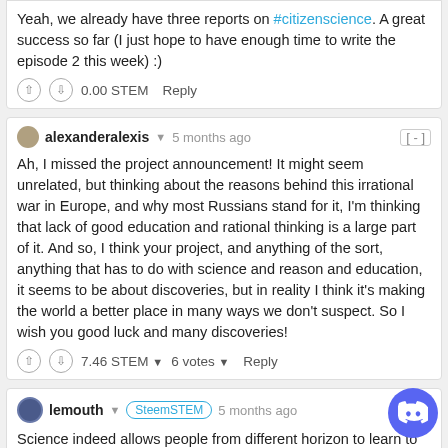Yeah, we already have three reports on #citizenscience. A great success so far (I just hope to have enough time to write the episode 2 this week) :)
0.00 STEM   Reply
alexanderalexis ▼ 5 months ago [-]
Ah, I missed the project announcement! It might seem unrelated, but thinking about the reasons behind this irrational war in Europe, and why most Russians stand for it, I'm thinking that lack of good education and rational thinking is a large part of it. And so, I think your project, and anything of the sort, anything that has to do with science and reason and education, it seems to be about discoveries, but in reality I think it's making the world a better place in many ways we don't suspect. So I wish you good luck and many discoveries!
7.46 STEM ▼   6 votes ▼   Reply
lemouth ▼ SteemSTEM 5 months ago [-]
Science indeed allows people from different horizon to learn to know each other. And this is through education and the knowledge of the culture of the others that we may move on. I wrote 'may', as I was shocked to s…